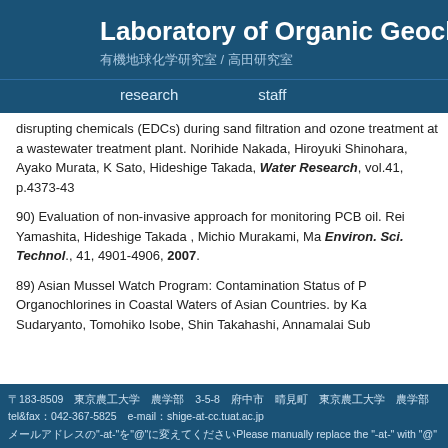Laboratory of Organic Geoche
有機地球化学研究室 / 高田研究室
research   staff
disrupting chemicals (EDCs) during sand filtration and ozone treatment at a wastewater treatment plant. Norihide Nakada, Hiroyuki Shinohara, Ayako Murata, K Sato, Hideshige Takada, Water Research, vol.41, p.4373-43
90) Evaluation of non-invasive approach for monitoring PCB oil. Rei Yamashita, Hideshige Takada , Michio Murakami, Ma Environ. Sci. Technol., 41, 4901-4906, 2007.
89) Asian Mussel Watch Program: Contamination Status of P Organochlorines in Coastal Waters of Asian Countries. by Ka Sudaryanto, Tomohiko Isobe, Shin Takahashi, Annamalai Sub
〒183-8509　東京農工大学　農学部　3-5-8　府中市　晴見町　東京農工大学　農学部
tel&fax：042-367-5825　e-mail：shige-at-cc.tuat.ac.jp
メールアドレスの"-at-"を"@"に変えてくださいPlease manually replace the "-at-" with "@"